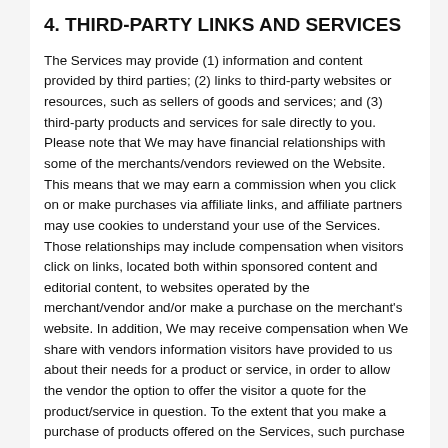4. THIRD-PARTY LINKS AND SERVICES
The Services may provide (1) information and content provided by third parties; (2) links to third-party websites or resources, such as sellers of goods and services; and (3) third-party products and services for sale directly to you. Please note that We may have financial relationships with some of the merchants/vendors reviewed on the Website. This means that we may earn a commission when you click on or make purchases via affiliate links, and affiliate partners may use cookies to understand your use of the Services. Those relationships may include compensation when visitors click on links, located both within sponsored content and editorial content, to websites operated by the merchant/vendor and/or make a purchase on the merchant's website. In addition, We may receive compensation when We share with vendors information visitors have provided to us about their needs for a product or service, in order to allow the vendor the option to offer the visitor a quote for the product/service in question. To the extent that you make a purchase of products offered on the Services, such purchase will be subject to separate terms of sale presented on the website or online service